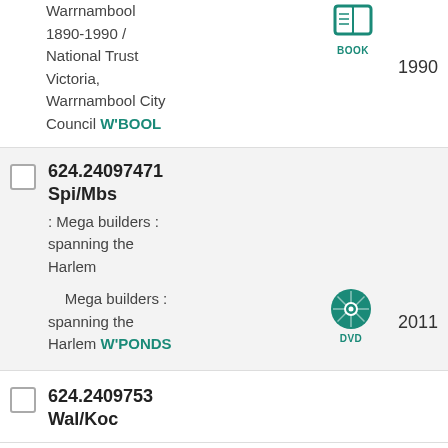Warrnambool 1890-1990 / National Trust Victoria, Warrnambool City Council W'BOOL
1990
624.24097471 Spi/Mbs
: Mega builders : spanning the Harlem
Mega builders : spanning the Harlem W'PONDS
2011
624.2409753 Wal/Koc